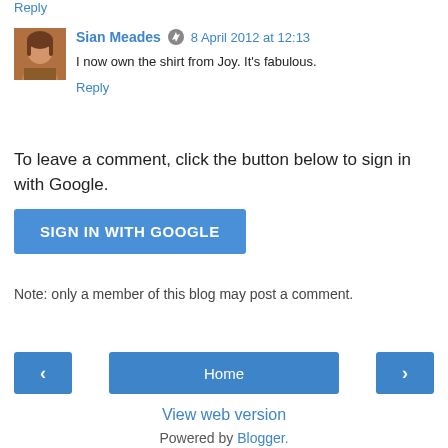Reply
[Figure (photo): Avatar photo of Sian Meades, a woman with brown hair]
Sian Meades  8 April 2012 at 12:13
I now own the shirt from Joy. It's fabulous.
Reply
To leave a comment, click the button below to sign in with Google.
SIGN IN WITH GOOGLE
Note: only a member of this blog may post a comment.
‹
Home
›
View web version
Powered by Blogger.